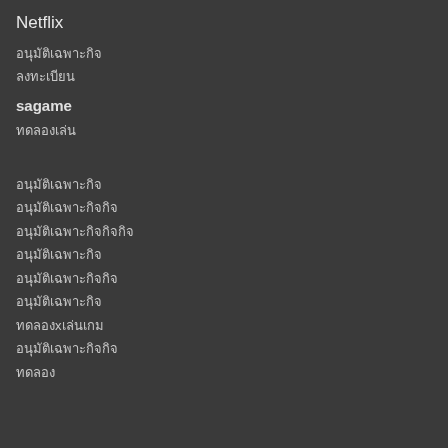Netflix
อนุมัติเฉพาะกิจ
ลงทะเบียน
sagame
ทดลองเล่น
อนุมัติเฉพาะกิจ
อนุมัติเฉพาะกิจกิจ
อนุมัติเฉพาะกิจกิจกิจ
อนุมัติเฉพาะกิจ
อนุมัติเฉพาะกิจกิจ
อนุมัติเฉพาะกิจ
ทดลองxเล่นเกม
อนุมัติเฉพาะกิจกิจ
ทดลอง